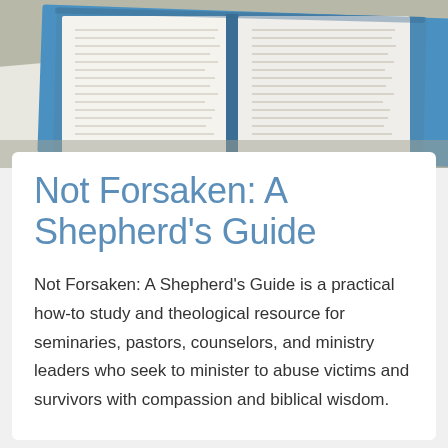[Figure (photo): Open Bible on a desk with papers and other books around it, viewed from above at an angle. The Bible has a blue cover visible on the side.]
Not Forsaken: A Shepherd's Guide
Not Forsaken: A Shepherd's Guide is a practical how-to study and theological resource for seminaries, pastors, counselors, and ministry leaders who seek to minister to abuse victims and survivors with compassion and biblical wisdom.